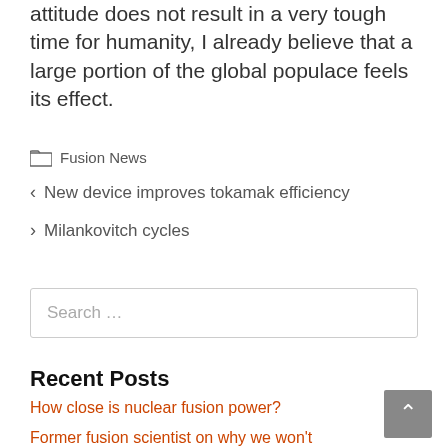attitude does not result in a very tough time for humanity, I already believe that a large portion of the global populace feels its effect.
Fusion News
New device improves tokamak efficiency
Milankovitch cycles
Search …
Recent Posts
How close is nuclear fusion power?
Former fusion scientist on why we won't